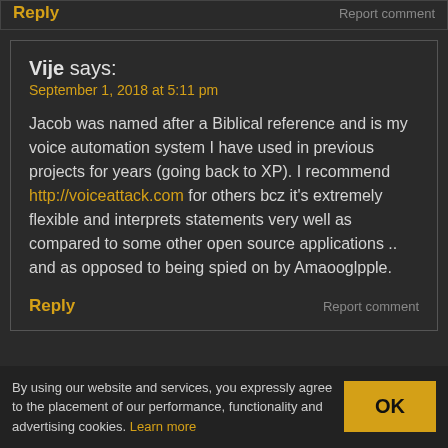Reply
Report comment
Vije says:
September 1, 2018 at 5:11 pm
Jacob was named after a Biblical reference and is my voice automation system I have used in previous projects for years (going back to XP). I recommend http://voiceattack.com for others bcz it's extremely flexible and interprets statements very well as compared to some other open source applications .. and as opposed to being spied on by Amaooglpple.
Reply
Report comment
By using our website and services, you expressly agree to the placement of our performance, functionality and advertising cookies. Learn more
OK